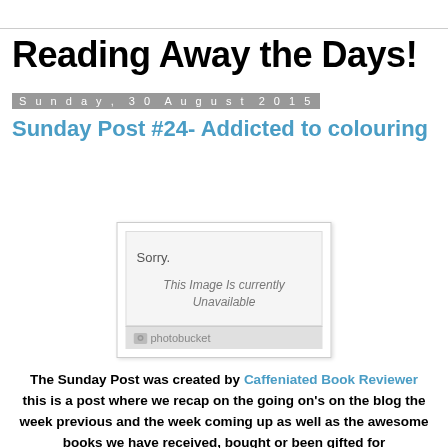Reading Away the Days!
Sunday, 30 August 2015
Sunday Post #24- Addicted to colouring
[Figure (photo): Photobucket image placeholder showing 'Sorry. This Image Is Currently Unavailable' with photobucket branding]
The Sunday Post was created by Caffeniated Book Reviewer this is a post where we recap on the going on's on the blog the week previous and the week coming up as well as the awesome books we have received, bought or been gifted for